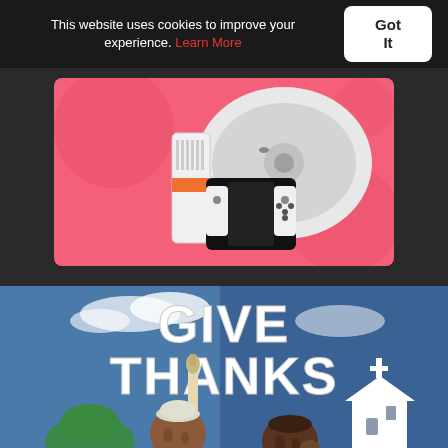This website uses cookies to improve your experience. Learn More
Got It
[Figure (illustration): Promotional banner on pink/coral background showing electronics products: a robot vacuum cleaner, a gaming console, Nintendo Switch, and a black device]
[Figure (illustration): Illustrated artwork showing two animated characters looking upward with text GIVE THANKS in large white bold letters, mosque minaret on left with green dome, church with cross on right, blue sky background]